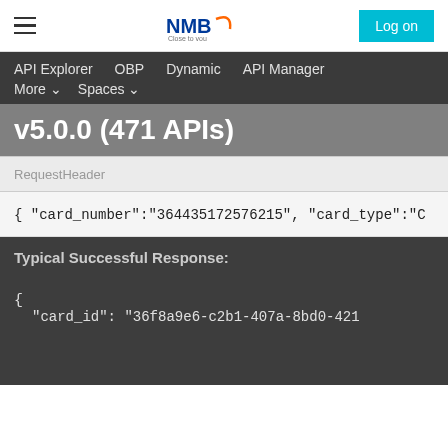NMB | Close to you | Log on
API Explorer   OBP   Dynamic   API Manager   More   Spaces
v5.0.0 (471 APIs)
RequestHeader
{ "card_number":"364435172576215", "card_type":"C
Typical Successful Response:
{
  "card_id": "36f8a9e6-c2b1-407a-8bd0-421